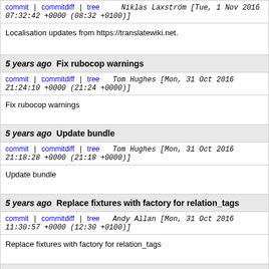commit | commitdiff | tree   Niklas Laxström [Tue, 1 Nov 2016 07:32:42 +0000 (08:32 +0100)]
Localisation updates from https://translatewiki.net.
5 years ago   Fix rubocop warnings
commit | commitdiff | tree   Tom Hughes [Mon, 31 Oct 2016 21:24:10 +0000 (21:24 +0000)]
Fix rubocop warnings
5 years ago   Update bundle
commit | commitdiff | tree   Tom Hughes [Mon, 31 Oct 2016 21:18:28 +0000 (21:18 +0000)]
Update bundle
5 years ago   Replace fixtures with factory for relation_tags
commit | commitdiff | tree   Andy Allan [Mon, 31 Oct 2016 11:30:57 +0000 (12:30 +0100)]
Replace fixtures with factory for relation_tags
5 years ago   Replace fixtures with factory for ...